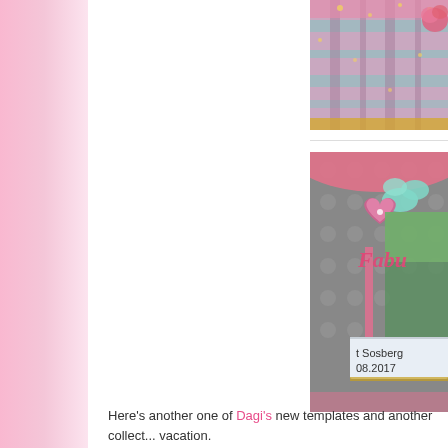[Figure (photo): Decorative scrapbook image with plaid/glitter pattern in pink, teal and gold tones]
[Figure (photo): Scrapbook layout with polka dot background, pink heart embellishment, teal flower, text reading 'Fabul...' in pink script, and label with 'Sosberg' and '08.2017']
Here's another one of Dagi's new templates and another collect... vacation.